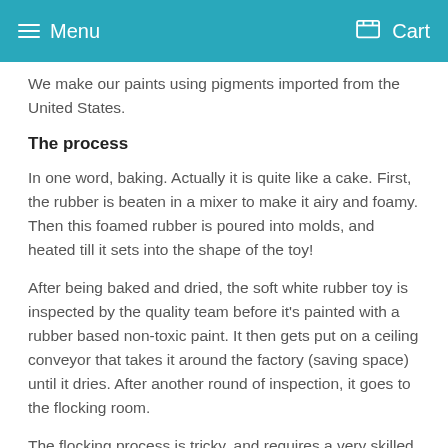Menu   Cart
We make our paints using pigments imported from the United States.
The process
In one word, baking. Actually it is quite like a cake. First, the rubber is beaten in a mixer to make it airy and foamy. Then this foamed rubber is poured into molds, and heated till it sets into the shape of the toy!
After being baked and dried, the soft white rubber toy is inspected by the quality team before it's painted with a rubber based non-toxic paint. It then gets put on a ceiling conveyor that takes it around the factory (saving space) until it dries. After another round of inspection, it goes to the flocking room.
The flocking process is tricky, and requires a very skilled technician. In this process, tiny lengths of nylon fibre are glued onto the toy. The way it works is that when thousands of fibres exactly the same length stick out from the toy at right angles to the surface, they